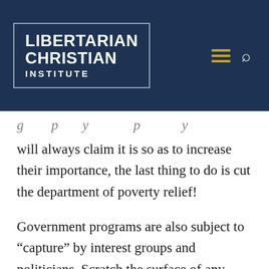[Figure (logo): Libertarian Christian Institute logo: white bold sans-serif text reading LIBERTARIAN CHRISTIAN INSTITUTE inside a white-bordered box on a dark navy background, with a gold hamburger menu icon and white search icon to the right]
will always claim it is so as to increase their importance, the last thing to do is cut the department of poverty relief!
Government programs are also subject to “capture” by interest groups and politicians. Scratch the surface of any government program and you will find that it is not the